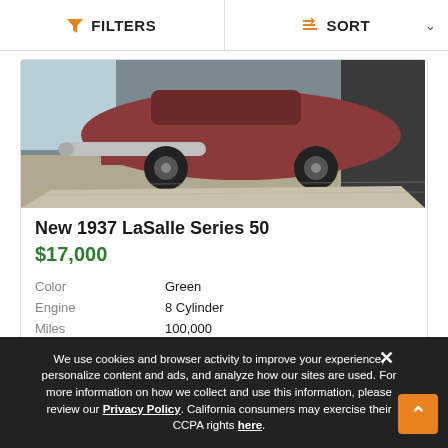FILTERS  |  SORT
[Figure (photo): Photo of a 1937 LaSalle Series 50 classic car partially visible, showing the front/side with a large chrome exhaust pipe, red/rust paint, black tires, on a concrete floor inside a garage.]
New 1937 LaSalle Series 50
$17,000
| Attribute | Value |
| --- | --- |
| Color | Green |
| Engine | 8 Cylinder |
| Miles | 100,000 |
We use cookies and browser activity to improve your experience, personalize content and ads, and analyze how our sites are used. For more information on how we collect and use this information, please review our Privacy Policy. California consumers may exercise their CCPA rights here.